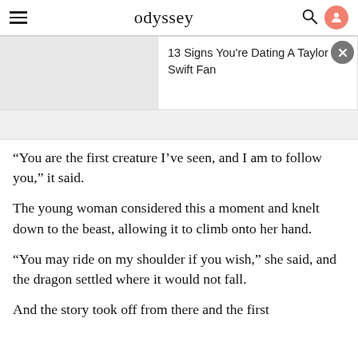odyssey
[Figure (screenshot): Advertisement banner showing '13 Signs You're Dating A Taylor Swift Fan' with a gray image placeholder on the left and text on the right, with an X close button]
“You are the first creature I’ve seen, and I am to follow you,” it said.
The young woman considered this a moment and knelt down to the beast, allowing it to climb onto her hand.
“You may ride on my shoulder if you wish,” she said, and the dragon settled where it would not fall.
And the story took off from there and the first